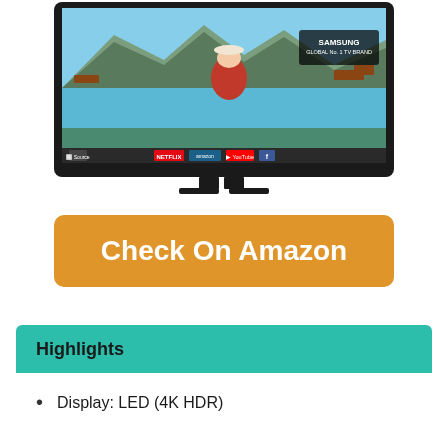[Figure (photo): Samsung Smart LED TV showing a beach scene with a woman in a red dress, boats in background. Samsung 'Global No. 1 TV Brand' badge visible. Smart TV interface bar at bottom showing Netflix, YouTube, Facebook and other app icons.]
[Figure (other): Orange rounded rectangle button with white bold text: Check On Amazon]
Highlights
Display: LED (4K HDR)